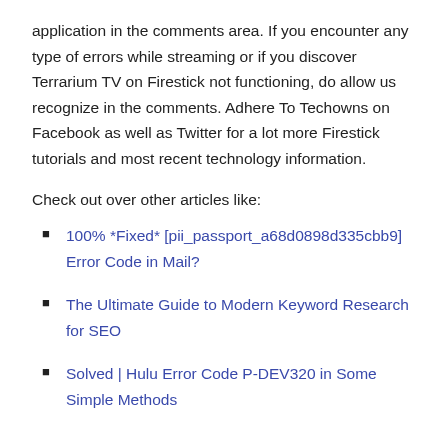application in the comments area. If you encounter any type of errors while streaming or if you discover Terrarium TV on Firestick not functioning, do allow us recognize in the comments. Adhere To Techowns on Facebook as well as Twitter for a lot more Firestick tutorials and most recent technology information.
Check out over other articles like:
100% *Fixed* [pii_passport_a68d0898d335cbb9] Error Code in Mail?
The Ultimate Guide to Modern Keyword Research for SEO
Solved | Hulu Error Code P-DEV320 in Some Simple Methods